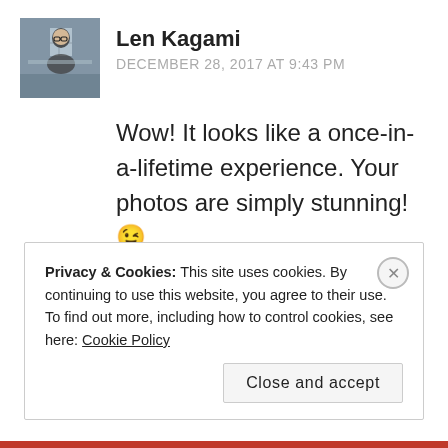[Figure (photo): Avatar photo of Len Kagami, a person wearing glasses, photographed from outside through a window]
Len Kagami
DECEMBER 28, 2017 AT 9:43 PM
Wow! It looks like a once-in-a-lifetime experience. Your photos are simply stunning! 😉
★ Liked by 1 person
REPLY
Privacy & Cookies: This site uses cookies. By continuing to use this website, you agree to their use.
To find out more, including how to control cookies, see here: Cookie Policy
Close and accept